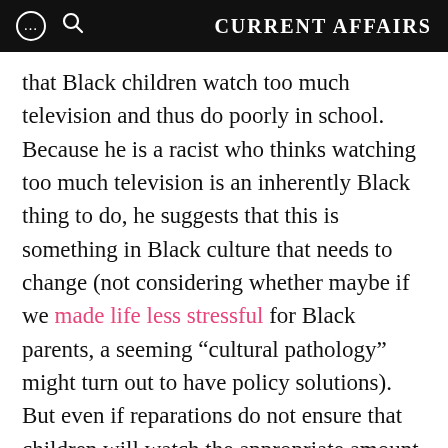CURRENT AFFAIRS
that Black children watch too much television and thus do poorly in school. Because he is a racist who thinks watching too much television is an inherently Black thing to do, he suggests that this is something in Black culture that needs to change (not considering whether maybe if we made life less stressful for Black parents, a seeming “cultural pathology” might turn out to have policy solutions). But even if reparations do not ensure that children will watch the appropriate amount of television… what of it? What does that have to do with the question of whether an